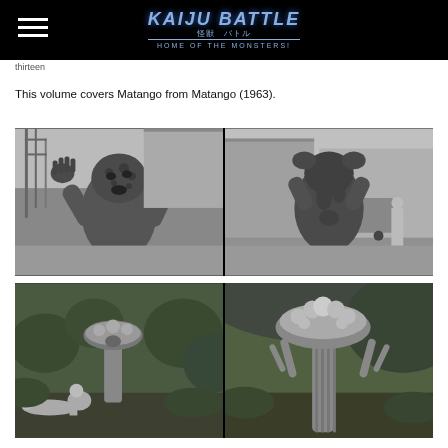Kaiju Battle - Home of the Monsters!
thirteen
This volume covers Matango from Matango (1963).
[Figure (photo): Two black-and-white side-by-side photos of an actor in a Matango (fungus monster) costume on a city street set. Left: front view showing the creature's textured face and raised clawed hands. Right: back view of the same creature with arms raised.]
[Figure (photo): Two black-and-white side-by-side photos of Matango mushroom creature figures in a jungle/island set. Left: scene with human figures lying on ground near a large mushroom-headed creature. Right: a close-up of the tall Matango mushroom creature standing among foliage.]